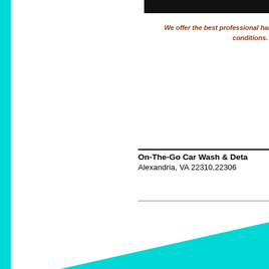We offer the best professional hand conditions. C
On-The-Go Car Wash & Deta
Alexandria, VA 22310,22306